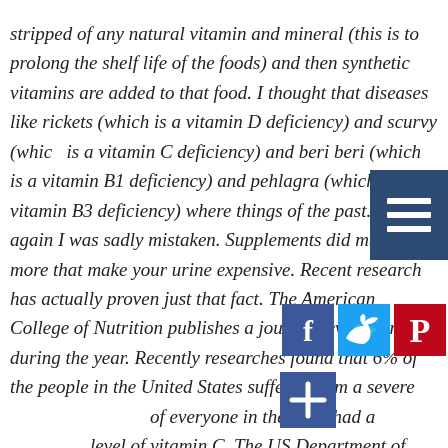stripped of any natural vitamin and mineral (this is to prolong the shelf life of the foods) and then synthetic vitamins are added to that food. I thought that diseases like rickets (which is a vitamin D deficiency) and scurvy (which is a vitamin C deficiency) and beri beri (which is a vitamin B1 deficiency) and pehlagra (which is a vitamin B3 deficiency) where things of the past. Well, again I was sadly mistaken. Supplements did much more that make your urine expensive. Recent research has actually proven just that fact. The American College of Nutrition publishes a journal several times during the year. Recently researches found that 6% of the people in the United States suffered from a severe ... of everyone in the U. S. had a low level of vitamin C. The US Department of Agriculture published even more alarming data. Almost
[Figure (other): Hamburger/menu icon — three white horizontal bars on dark blue background, positioned top-right]
[Figure (other): Social share buttons row: Facebook (blue), Twitter (light blue), Pinterest (red), LinkedIn (teal), Email (teal/blue). Plus a blue + button below.]